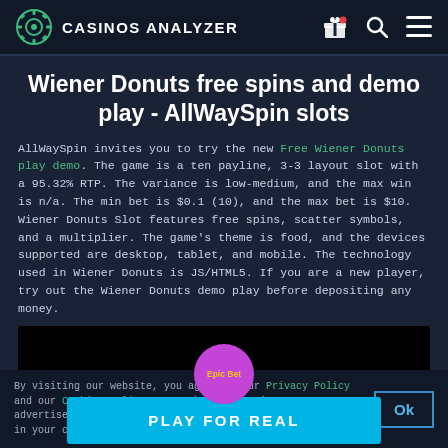CASINOS ANALYZER
Wiener Donuts free spins and demo play - AllWaySpin slots
AllWaySpin invites you to try the new Free Wiener Donuts play demo. The game is a ten payline, 3-3 layout slot with a 95.32% RTP. The variance is low-medium, and the max win is n/a. The min bet is $0.1 (10), and the max bet is $10. Wiener Donuts Slot features free spins, scatter symbols, and a multiplier. The game's theme is food, and the devices supported are desktop, tablet, and mobile. The technology used in Wiener Donuts is JS/HTML5. If you are a new player, try out the Wiener Donuts demo play before depositing any money.
[Figure (screenshot): Game demo placeholder with a magenta circle button labeled 'Epic Bet' and a blue 'PLAY FOR REAL' button below on a black background]
By visiting our website, you agree to our Privacy Policy and our Cookies Policy. Our website contains advertisement. You must be lawfully permitted to gamble in your country of access.